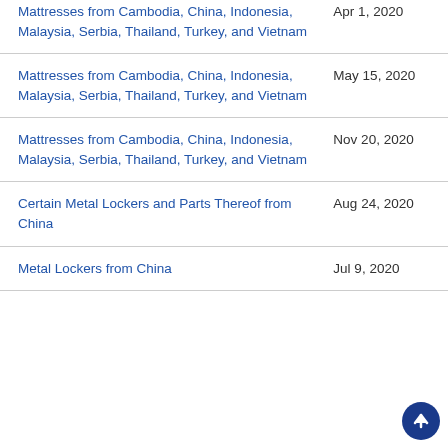| Case | Date |
| --- | --- |
| Mattresses from Cambodia, China, Indonesia, Malaysia, Serbia, Thailand, Turkey, and Vietnam | Apr 1, 2020 |
| Mattresses from Cambodia, China, Indonesia, Malaysia, Serbia, Thailand, Turkey, and Vietnam | May 15, 2020 |
| Mattresses from Cambodia, China, Indonesia, Malaysia, Serbia, Thailand, Turkey, and Vietnam | Nov 20, 2020 |
| Certain Metal Lockers and Parts Thereof from China | Aug 24, 2020 |
| Metal Lockers from China | Jul 9, 2020 |